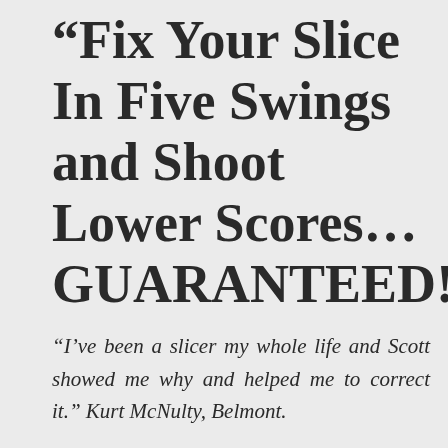“Fix Your Slice In Five Swings and Shoot Lower Scores… GUARANTEED!”
“I’ve been a slicer my whole life and Scott showed me why and helped me to correct it.” Kurt McNulty, Belmont.